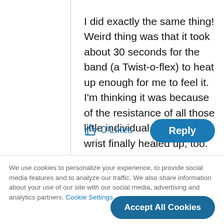I did exactly the same thing! Weird thing was that it took about 30 seconds for the band (a Twist-o-flex) to heat up enough for me to feel it. I'm thinking it was because of the resistance of all those little individual links. My wrist finally healed up, too.
0 Likes
Reply
We use cookies to personalize your experience, to provide social media features and to analyze our traffic. We also share information about your use of our site with our social media, advertising and analytics partners. Cookie Settings
Accept All Cookies